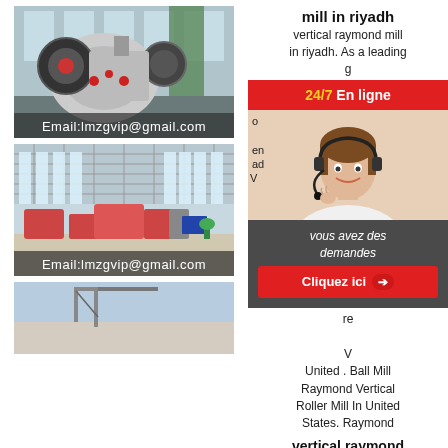[Figure (photo): Industrial jaw crusher machine inside a large factory hall with blue and white machinery]
Email:lmzgvip@gmail.com
[Figure (photo): Large industrial processing plant interior with multiple machines and high glass windows]
Email:lmzgvip@gmail.com
[Figure (photo): Outdoor industrial facility with crane or conveyor structure]
mill in riyadh
vertical raymond mill in riyadh. As a leading g
[Figure (infographic): 24/7 En ligne banner with customer service agent photo, chat bubble saying 'vous avez des demandes', and Cliquez ici button]
United . Ball Mill Raymond Vertical Roller Mill In United States. Raymond
vertical raymond mill in riyadh